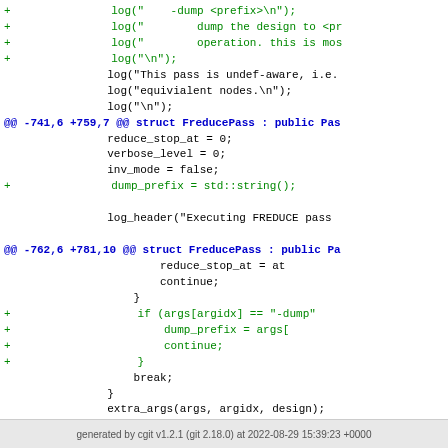Code diff showing changes to FreducePass including dump_prefix and -dump argument handling
generated by cgit v1.2.1 (git 2.18.0) at 2022-08-29 15:39:23 +0000